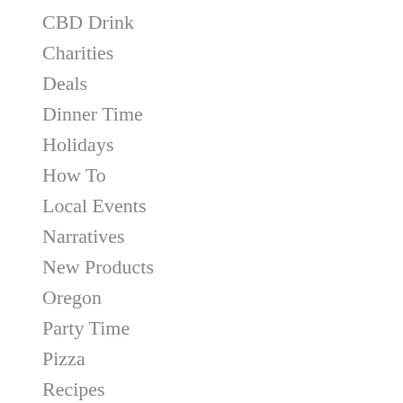CBD Drink
Charities
Deals
Dinner Time
Holidays
How To
Local Events
Narratives
New Products
Oregon
Party Time
Pizza
Recipes